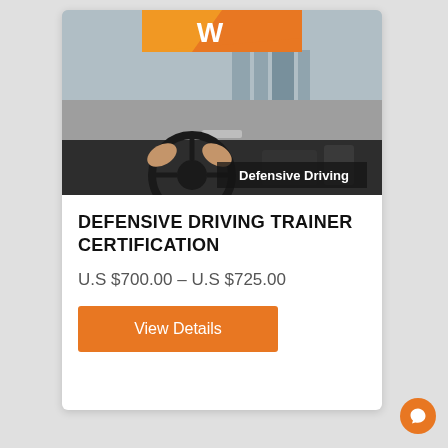[Figure (photo): Product image of a Defensive Driving course book/DVD showing hands on a steering wheel driving on a highway, with an orange and white brand logo at top and 'Defensive Driving' text overlay at bottom right.]
DEFENSIVE DRIVING TRAINER CERTIFICATION
U.S $700.00 – U.S $725.00
View Details